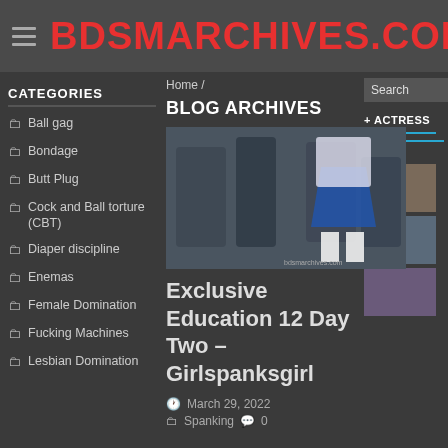BDSMARCHIVES.COM
CATEGORIES
Ball gag
Bondage
Butt Plug
Cock and Ball torture (CBT)
Diaper discipline
Enemas
Female Domination
Fucking Machines
Lesbian Domination
Home /
BLOG ARCHIVES
[Figure (photo): Photo of school spanking scene]
Exclusive Education 12 Day Two – Girlspanksgirl
March 29, 2022  Spanking  0
+ ACTRESS
NEWS...